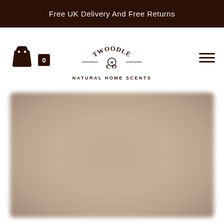Free UK Delivery And Free Returns
[Figure (logo): Twoodle Co Natural Home Scents logo with shopping bag icon and hamburger menu]
[Figure (photo): Blurred tan/beige hero image section]